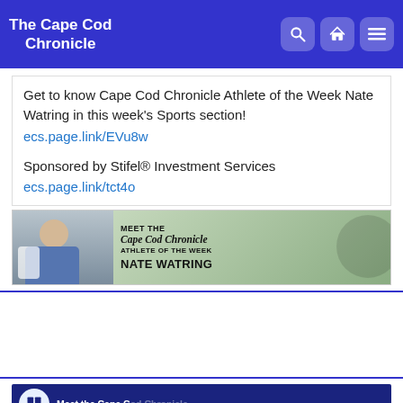The Cape Cod Chronicle
Get to know Cape Cod Chronicle Athlete of the Week Nate Watring in this week's Sports section!
ecs.page.link/EVu8w

Sponsored by Stifel® Investment Services
ecs.page.link/tct4o
[Figure (photo): Photo of athlete Nate Watring alongside text: MEET THE Cape Cod Chronicle ATHLETE OF THE WEEK NATE WATRING]
[Figure (photo): Bottom banner image - Meet the Cape Cod Chronicle, partially visible]